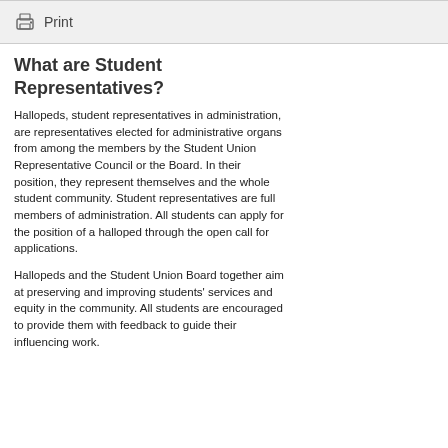Print
What are Student Representatives?
Hallopeds, student representatives in administration, are representatives elected for administrative organs from among the members by the Student Union Representative Council or the Board. In their position, they represent themselves and the whole student community. Student representatives are full members of administration. All students can apply for the position of a halloped through the open call for applications.
Hallopeds and the Student Union Board together aim at preserving and improving students' services and equity in the community. All students are encouraged to provide them with feedback to guide their influencing work.